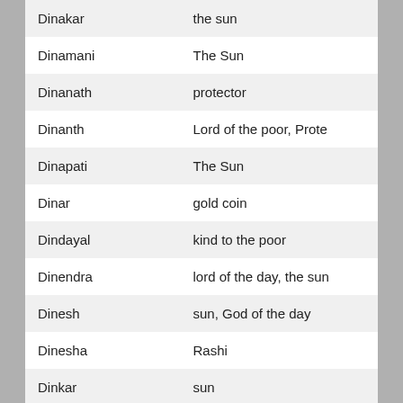| Name | Meaning |
| --- | --- |
| Dinakar | the sun |
| Dinamani | The Sun |
| Dinanath | protector |
| Dinanth | Lord of the poor, Prote |
| Dinapati | The Sun |
| Dinar | gold coin |
| Dindayal | kind to the poor |
| Dinendra | lord of the day, the sun |
| Dinesh | sun, God of the day |
| Dinesha | Rashi |
| Dinkar | sun |
| Di... |  |